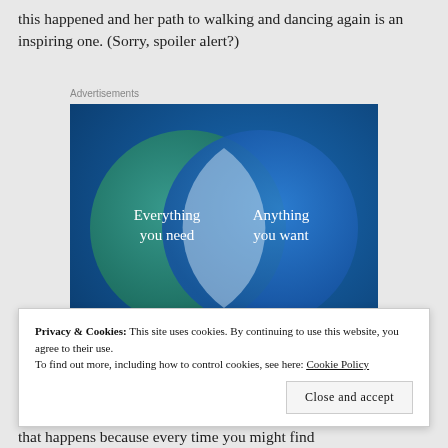this happened and her path to walking and dancing again is an inspiring one. (Sorry, spoiler alert?)
Advertisements
[Figure (infographic): Venn diagram advertisement showing two overlapping circles on a dark blue background. Left circle (teal/green): 'Everything you need'. Right circle (blue): 'Anything you want'. The overlapping region is a lighter blue-grey lens shape. A pink bar is partially visible at the bottom.]
Privacy & Cookies: This site uses cookies. By continuing to use this website, you agree to their use.
To find out more, including how to control cookies, see here: Cookie Policy
that happens because every time you might find